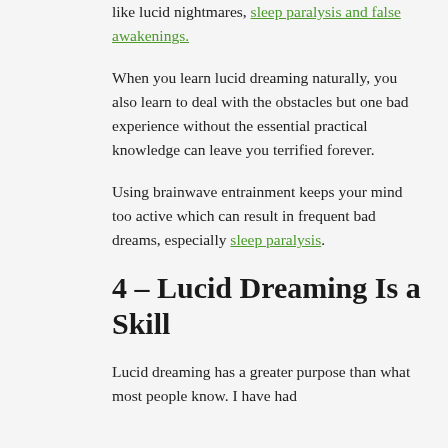like lucid nightmares, sleep paralysis and false awakenings.
When you learn lucid dreaming naturally, you also learn to deal with the obstacles but one bad experience without the essential practical knowledge can leave you terrified forever.
Using brainwave entrainment keeps your mind too active which can result in frequent bad dreams, especially sleep paralysis.
4 – Lucid Dreaming Is a Skill
Lucid dreaming has a greater purpose than what most people know. I have had